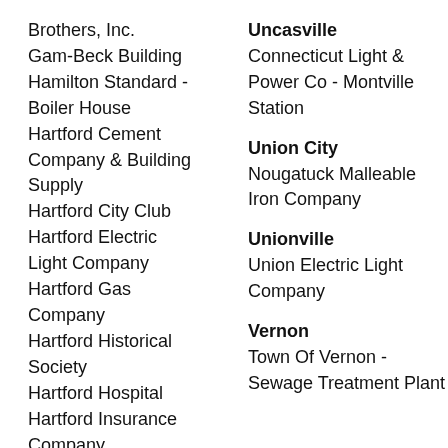Brothers, Inc.
Gam-Beck Building
Hamilton Standard - Boiler House
Hartford Cement Company & Building Supply
Hartford City Club
Hartford Electric Light Company
Hartford Gas Company
Hartford Historical Society
Hartford Hospital
Hartford Insurance Company
Uncasville
Connecticut Light & Power Co - Montville Station
Union City
Nougatuck Malleable Iron Company
Unionville
Union Electric Light Company
Vernon
Town Of Vernon - Sewage Treatment Plant